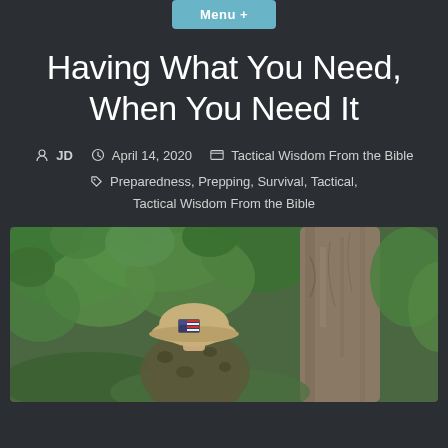Menu +
Having What You Need, When You Need It
JD   April 14, 2020   Tactical Wisdom From the Bible   Preparedness, Prepping, Survival, Tactical, Tactical Wisdom From the Bible
[Figure (photo): Outdoor photo showing a person from behind wearing a tan baseball cap with an American flag patch and camouflage gear, leaning against a tree trunk surrounded by green foliage and vegetation.]